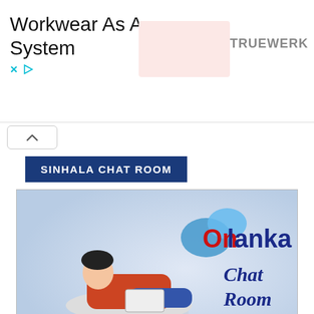[Figure (illustration): Advertisement banner: 'Workwear As A System' with close and play controls, a pink placeholder image, and 'TRUEWERK' brand text on the right]
[Figure (illustration): Collapse/chevron-up button below the ad banner]
SINHALA CHAT ROOM
[Figure (logo): Onlanka Chat Room logo: blue speech bubbles, red 'On' and dark blue 'lanka' text, 'Chat Room' in italic blue, woman lying on couch with laptop]
SEARCH NEWS
[Figure (screenshot): Search input field with placeholder 'Search ...' and a blue search icon button on the right]
HIRE WEB DEVELOPER